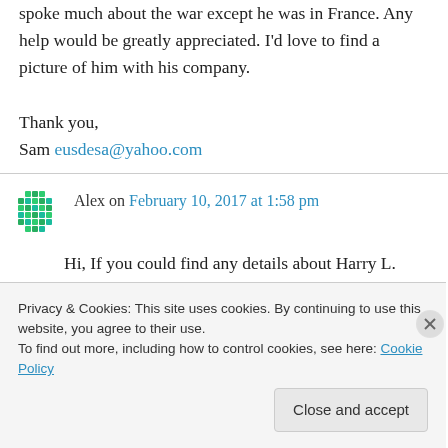spoke much about the war except he was in France. Any help would be greatly appreciated. I'd love to find a picture of him with his company.
Thank you,
Sam eusdesa@yahoo.com
Alex on February 10, 2017 at 1:58 pm
Hi, If you could find any details about Harry L. Lowell that would be great. He served as 1st lieutenant in the 134th infantry Machine G...
Privacy & Cookies: This site uses cookies. By continuing to use this website, you agree to their use.
To find out more, including how to control cookies, see here: Cookie Policy